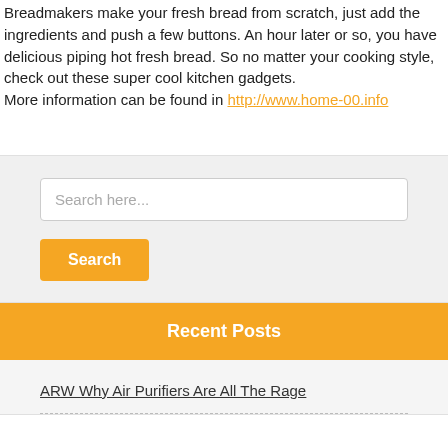Breadmakers make your fresh bread from scratch, just add the ingredients and push a few buttons. An hour later or so, you have delicious piping hot fresh bread. So no matter your cooking style, check out these super cool kitchen gadgets.
More information can be found in http://www.home-00.info
Ek
/le
[Figure (screenshot): Search widget with a text input field labelled 'Search here...' and an orange 'Search' button below it, on a light grey background]
Recent Posts
ARW Why Air Purifiers Are All The Rage